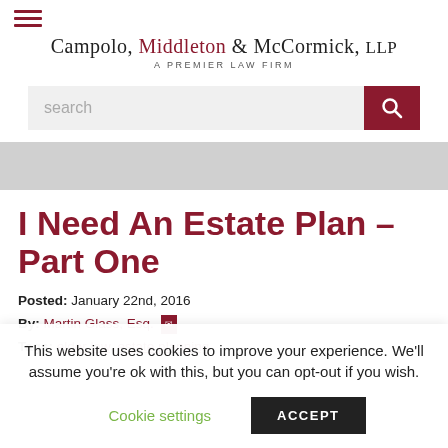[Figure (logo): Hamburger menu icon (three horizontal red lines) followed by law firm name: Campolo, Middleton & McCormick, LLP — A Premier Law Firm]
[Figure (screenshot): Search bar with light gray input field showing placeholder text 'search' and a dark red search button with magnifying glass icon]
[Figure (illustration): Light gray banner strip spanning full width]
I Need An Estate Plan – Part One
Posted: January 22nd, 2016
By: Martin Glass, Esq. [envelope icon]
Tags: elder law, estate planning
This website uses cookies to improve your experience. We'll assume you're ok with this, but you can opt-out if you wish.
Cookie settings   ACCEPT